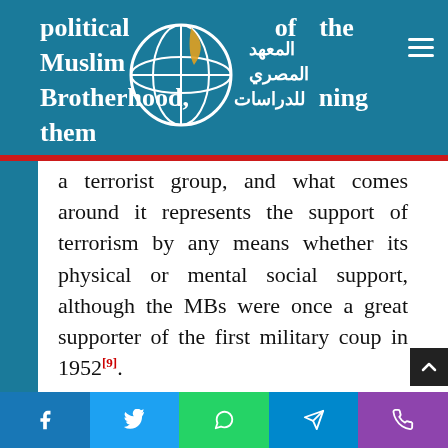political agenda of the Muslim Brotherhood, designating them a terrorist group, and what comes
[Figure (logo): Al-Masry al-Arabi Institute for Studies logo with globe and Arabic text المعهد المصري للدراسات]
a terrorist group, and what comes around it represents the support of terrorism by any means whether its physical or mental social support, although the MBs were once a great supporter of the first military coup in 1952[9].
The government has been seeking global support against political change makers, although they lack